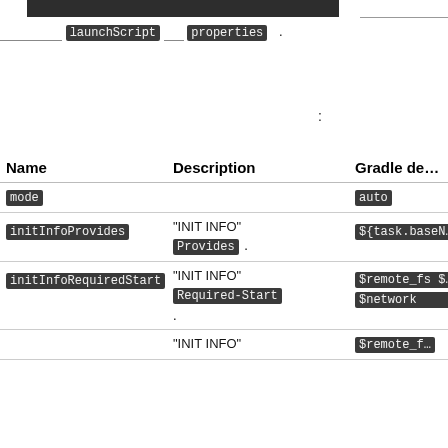[truncated top bar / header area]
launchScript   properties   .
:
| Name | Description | Gradle de… |
| --- | --- | --- |
| mode |  | auto |
| initInfoProvides | "INIT INFO" Provides . | ${task.baseN… |
| initInfoRequiredStart | "INIT INFO" Required-Start . | $remote_fs $network . |
|  | "INIT INFO" | $remote_f… |